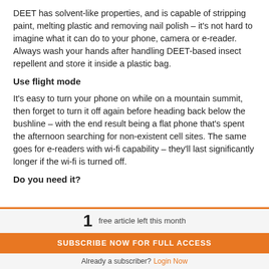DEET has solvent-like properties, and is capable of stripping paint, melting plastic and removing nail polish – it's not hard to imagine what it can do to your phone, camera or e-reader. Always wash your hands after handling DEET-based insect repellent and store it inside a plastic bag.
Use flight mode
It's easy to turn your phone on while on a mountain summit, then forget to turn it off again before heading back below the bushline – with the end result being a flat phone that's spent the afternoon searching for non-existent cell sites. The same goes for e-readers with wi-fi capability – they'll last significantly longer if the wi-fi is turned off.
Do you need it?
1 free article left this month
SUBSCRIBE NOW FOR FULL ACCESS
Already a subscriber? Login Now